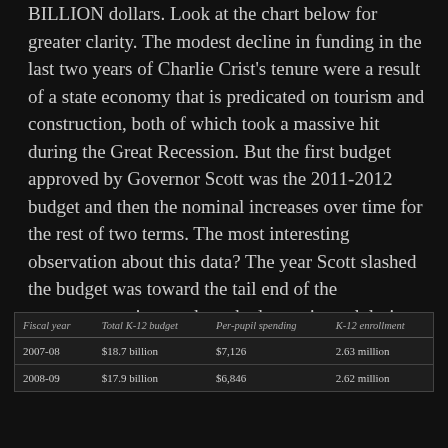BILLION dollars. Look at the chart below for greater clarity. The modest decline in funding in the last two years of Charlie Crist's tenure were a result of a state economy that is predicated on tourism and construction, both of which took a massive hit during the Great Recession. But the first budget approved by Governor Scott was the 2011-2012 budget and then the nominal increases over time for the rest of two terms. The most interesting observation about this data? The year Scott slashed the budget was toward the tail end of the macroeconomic trough we had experienced during the Great Recession and by 2012 we were in recovery mode.
| Fiscal year | Total K-12 budget | Per-pupil spending | K-12 enrollment |
| --- | --- | --- | --- |
| 2007-08 | $18.7 billion | $7,126 | 2.63 million |
| 2008-09 | $17.9 billion | $6,846 | 2.62 million |